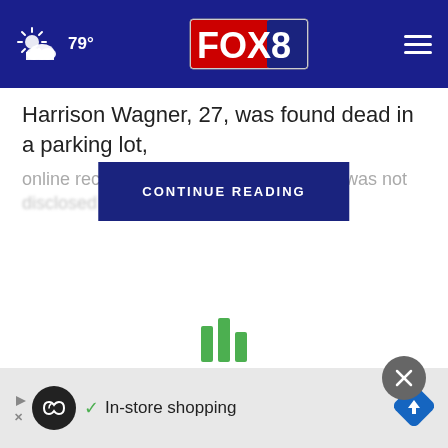79° FOX 8
Harrison Wagner, 27, was found dead in a parking lot, online records was not disclosed
[Figure (screenshot): CONTINUE READING button overlay]
[Figure (infographic): Three green loading bars/spinner]
[Figure (infographic): Close (X) button circle]
[Figure (infographic): Advertisement bar: play arrow, black circle logo with infinity symbol, checkmark, In-store shopping text, blue diamond direction arrow]